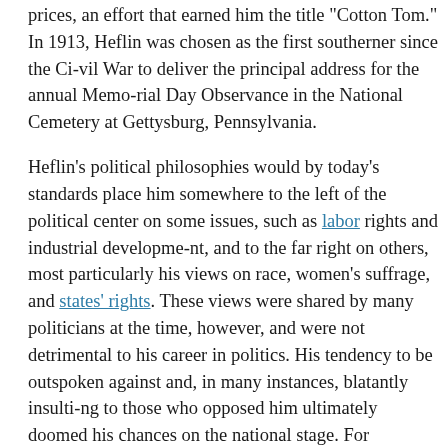prices, an effort that earned him the title 'Cotton Tom.' In 1913, Heflin was chosen as the first southerner since the Civil War to deliver the principal address for the annual Memorial Day Observance in the National Cemetery at Gettysburg, Pennsylvania.
Heflin's political philosophies would by today's standards place him somewhere to the left of the political center on some issues, such as labor rights and industrial development, and to the far right on others, most particularly his views on race, women's suffrage, and states' rights. These views were shared by many politicians at the time, however, and were not detrimental to his career in politics. His tendency to be outspoken against and, in many instances, blatantly insulting to those who opposed him ultimately doomed his chances on the national stage. For example, at the height of the women's suffrage movement in 1913, a national march was scheduled in Washington. In the spirited debate on the issue that took place in the House, Heflin, who strongly opposed a woman's right to vote, sparked laughter when he mocked his Alabama colleague Richmond Pearson Hobson, a supporter of the